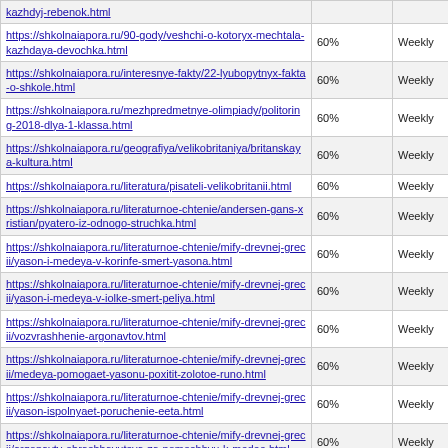| URL | Priority | Change Frequency |
| --- | --- | --- |
| https://shkolnaiapora.ru/...kazhdyj-rebenok.html | ~ | Weekly |
| https://shkolnaiapora.ru/90-gody/veshchi-o-kotoryx-mechtala-kazhdaya-devochka.html | 60% | Weekly |
| https://shkolnaiapora.ru/interesnye-fakty/22-lyubopytnyx-fakta-o-shkole.html | 60% | Weekly |
| https://shkolnaiapora.ru/mezhpredmetnye-olimpiady/politoring-2018-dlya-1-klassa.html | 60% | Weekly |
| https://shkolnaiapora.ru/geografiya/velikobritaniya/britanskaya-kultura.html | 60% | Weekly |
| https://shkolnaiapora.ru/literatura/pisateli-velikobritanii.html | 60% | Weekly |
| https://shkolnaiapora.ru/literaturnoe-chtenie/andersen-gans-xristian/pyatero-iz-odnogo-struchka.html | 60% | Weekly |
| https://shkolnaiapora.ru/literaturnoe-chtenie/mify-drevnej-grecii/yason-i-medeya-v-korinfe-smert-yasona.html | 60% | Weekly |
| https://shkolnaiapora.ru/literaturnoe-chtenie/mify-drevnej-grecii/yason-i-medeya-v-iolke-smert-peliya.html | 60% | Weekly |
| https://shkolnaiapora.ru/literaturnoe-chtenie/mify-drevnej-grecii/vozvrashhenie-argonavtov.html | 60% | Weekly |
| https://shkolnaiapora.ru/literaturnoe-chtenie/mify-drevnej-grecii/medeya-pomogaet-yasonu-poxitit-zolotoe-runo.html | 60% | Weekly |
| https://shkolnaiapora.ru/literaturnoe-chtenie/mify-drevnej-grecii/yason-ispolnyaet-poruchenie-eeta.html | 60% | Weekly |
| https://shkolnaiapora.ru/literaturnoe-chtenie/mify-drevnej-grecii/argonavty-obrashhayutsya-za-pomoshhyu-k-medee.html | 60% | Weekly |
| https://shkolnaiapora.ru/literaturnoe-chtenie/mify-drevnej-grecii/yason-u-eeta.html | 60% | Weekly |
| https://shkolnaiapora.ru/literaturnoe-chtenie/mify-drevnej-grecii/gera-i-afina-u-afrodity.html | 60% | Weekly |
| https://shkolnaiapora.ru/literaturnoe-chtenie/mify-drevnej-grecii/ostrov-aretiada-i-pribytie-v-kolxidu.html | 60% | Weekly |
| https://shkolnaiapora.ru/literaturnoe-chtenie/mify-drevnej-... | 60% | Weekly |